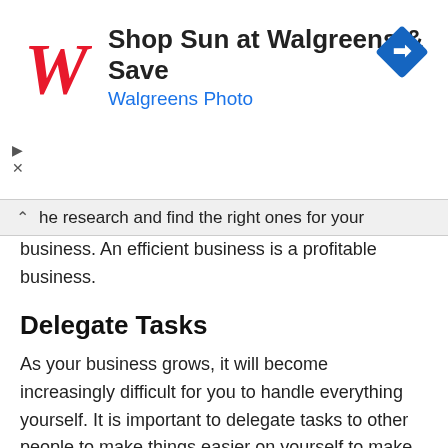[Figure (screenshot): Walgreens advertisement banner: red cursive W logo, text 'Shop Sun at Walgreens & Save' in bold, 'Walgreens Photo' in blue, blue diamond-shaped navigation arrow icon on the right, play and close controls on the left]
he research and find the right ones for your business. An efficient business is a profitable business.
Delegate Tasks
As your business grows, it will become increasingly difficult for you to handle everything yourself. It is important to delegate tasks to other people to make things easier on yourself to make things easier. This will free up your time to focus on more important things. As a business owner, you need to focus on the big picture, and this will allow that.